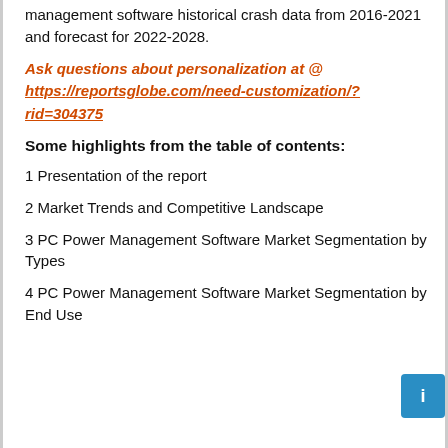management software historical crash data from 2016-2021 and forecast for 2022-2028.
Ask questions about personalization at @ https://reportsglobe.com/need-customization/?rid=304375
Some highlights from the table of contents:
1 Presentation of the report
2 Market Trends and Competitive Landscape
3 PC Power Management Software Market Segmentation by Types
4 PC Power Management Software Market Segmentation by End Use